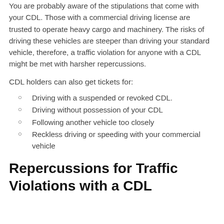You are probably aware of the stipulations that come with your CDL. Those with a commercial driving license are trusted to operate heavy cargo and machinery. The risks of driving these vehicles are steeper than driving your standard vehicle, therefore, a traffic violation for anyone with a CDL might be met with harsher repercussions.
CDL holders can also get tickets for:
Driving with a suspended or revoked CDL.
Driving without possession of your CDL
Following another vehicle too closely
Reckless driving or speeding with your commercial vehicle
Repercussions for Traffic Violations with a CDL